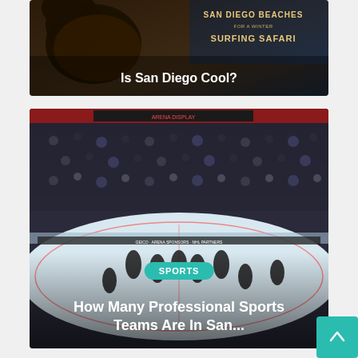[Figure (photo): Dark atmospheric photo of San Diego beach scene with text 'SAN DIEGO BEACHES FOR A WINTER SURFING SAFARI' overlaid in top right, and article headline 'Is San Diego Cool?' in white text at bottom center]
[Figure (photo): Ice hockey arena photo showing players on ice rink with crowd in background, a teal SPORTS badge and headline 'How Many Professional Sports Teams Are In San...' overlaid in white text]
[Figure (photo): Partial view of a third article card at the bottom of the page, showing a wooden surface or outdoor scene, partially cropped]